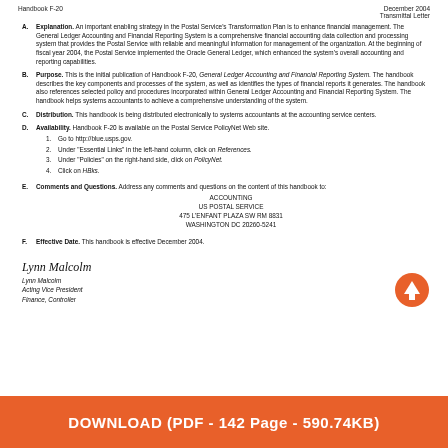Handbook F-20    December 2004
Transmittal Letter
A. Explanation. An important enabling strategy in the Postal Service's Transformation Plan is to enhance financial management. The General Ledger Accounting and Financial Reporting System is a comprehensive financial accounting data collection and processing system that provides the Postal Service with reliable and meaningful information for management of the organization. At the beginning of fiscal year 2004, the Postal Service implemented the Oracle General Ledger, which enhanced the system's overall accounting and reporting capabilities.
B. Purpose. This is the initial publication of Handbook F-20, General Ledger Accounting and Financial Reporting System. The handbook describes the key components and processes of the system, as well as identifies the types of financial reports it generates. The handbook also references selected policy and procedures incorporated within General Ledger Accounting and Financial Reporting System. The handbook helps systems accountants to achieve a comprehensive understanding of the system.
C. Distribution. This handbook is being distributed electronically to systems accountants at the accounting service centers.
D. Availability. Handbook F-20 is available on the Postal Service PolicyNet Web site.
1. Go to http://blue.usps.gov.
2. Under "Essential Links" in the left-hand column, click on References.
3. Under "Policies" on the right-hand side, click on PolicyNet.
4. Click on HBks.
E. Comments and Questions. Address any comments and questions on the content of this handbook to:
ACCOUNTING
US POSTAL SERVICE
475 L'ENFANT PLAZA SW RM 8831
WASHINGTON DC 20260-5241
F. Effective Date. This handbook is effective December 2004.
[Figure (illustration): Handwritten cursive signature: Lynn Malcolm]
Lynn Malcolm
Acting Vice President
Finance, Controller
[Figure (illustration): Orange circle with white upward arrow icon]
DOWNLOAD (PDF - 142 Page - 590.74KB)